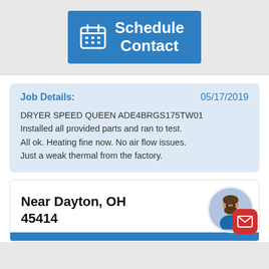[Figure (screenshot): Blue 'Schedule Contact' button with calendar icon]
Job Details: 05/17/2019
DRYER SPEED QUEEN ADE4BRGS175TW01 Installed all provided parts and ran to test. All ok. Heating fine now. No air flow issues. Just a weak thermal from the factory.
Near Dayton, OH 45414
[Figure (photo): Round profile photo of a man with beard, with red mail button overlay]